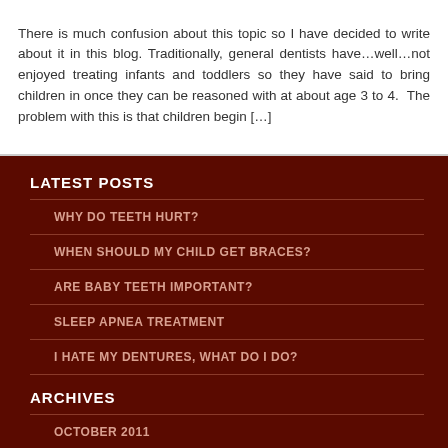There is much confusion about this topic so I have decided to write about it in this blog. Traditionally, general dentists have…well…not enjoyed treating infants and toddlers so they have said to bring children in once they can be reasoned with at about age 3 to 4. The problem with this is that children begin […]
LATEST POSTS
WHY DO TEETH HURT?
WHEN SHOULD MY CHILD GET BRACES?
ARE BABY TEETH IMPORTANT?
SLEEP APNEA TREATMENT
I HATE MY DENTURES, WHAT DO I DO?
ARCHIVES
OCTOBER 2011
SEPTEMBER 2011
JUNE 2011